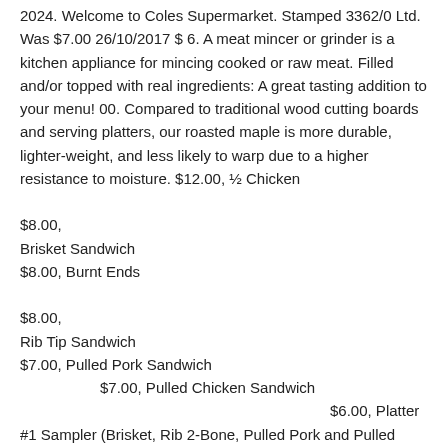2024. Welcome to Coles Supermarket. Stamped 3362/0 Ltd. Was $7.00 26/10/2017 $ 6. A meat mincer or grinder is a kitchen appliance for mincing cooked or raw meat. Filled and/or topped with real ingredients: A great tasting addition to your menu! 00. Compared to traditional wood cutting boards and serving platters, our roasted maple is more durable, lighter-weight, and less likely to warp due to a higher resistance to moisture. $12.00, ½ Chicken                                                              $8.00, Brisket Sandwich $8.00, Burnt Ends                                                    $8.00, Rib Tip Sandwich $7.00, Pulled Pork Sandwich           $7.00, Pulled Chicken Sandwich                                          $6.00, Platter #1 Sampler (Brisket, Rib 2-Bone, Pulled Pork and Pulled Chicken) with two sides          $18.00, Platter #2 Brisket Sandwich with two sides $14.00, Platter #3 Burnt Ends Sandwich with two sides                                              $14.00, Platter #4 (Ribs - 3 bones) with two sides                    $13.00, Platter #5 Pulled Pork Sandwich with two